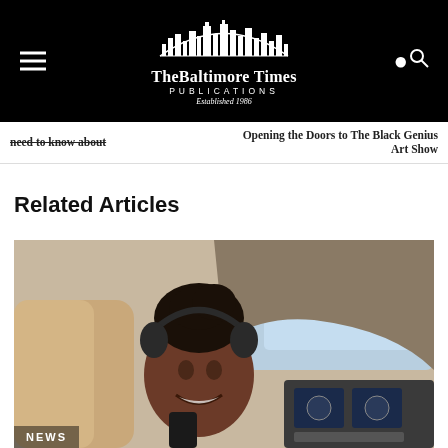The Baltimore Times Publications — Established 1986
need to know about
Opening the Doors to The Black Genius Art Show
Related Articles
[Figure (photo): A young Black woman wearing aviation headphones smiling in the cockpit of a small aircraft, with flight instruments visible in background. A NEWS label appears in the lower left of the image.]